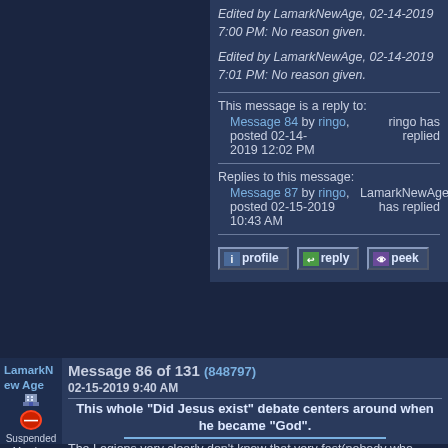Edited by LamarkNewAge, 02-14-2019 7:00 PM: No reason given.
Edited by LamarkNewAge, 02-14-2019 7:01 PM: No reason given.
This message is a reply to:
Message 84 by ringo, posted 02-14-2019 12:02 PM	 ringo has replied
Replies to this message:
Message 87 by ringo, posted 02-15-2019 10:43 AM	 LamarkNewAge has replied
LamarkNewAge   Message 86 of 131  (848797)  02-15-2019 9:40 AM
Suspended Member (Idle past 75 days)
Posts: 2236
Joined:
This whole "Did Jesus exist" debate centers around when he became "God".
The Legions very clearly don't know that very fast(nobody who posted on this thread